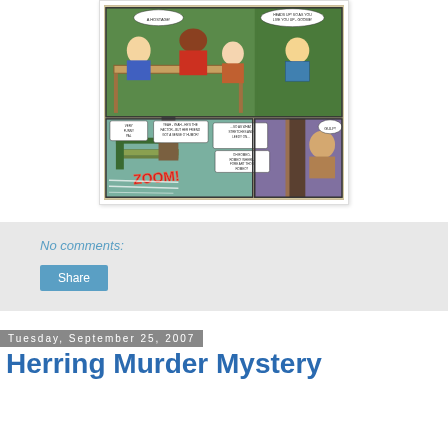[Figure (illustration): A comic book page excerpt showing teenage characters in a diner/outdoor scene with speech bubbles. Bottom panel shows a character zooming away with 'ZOOM' text effect.]
No comments:
Share
Tuesday, September 25, 2007
Herring Murder Mystery